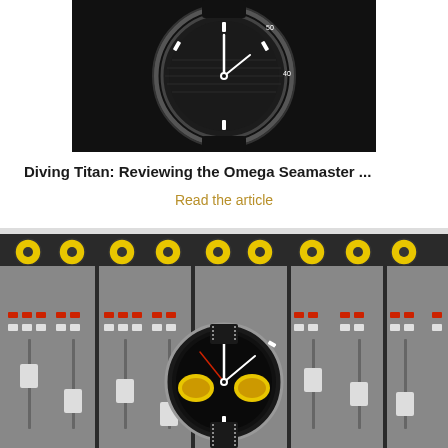[Figure (photo): Close-up photo of an Omega Seamaster dive watch with black dial and bezel on dark background]
Diving Titan: Reviewing the Omega Seamaster ...
Read the article
[Figure (photo): Photo of a vintage chronograph watch with black dial and yellow subdials placed on an audio mixing console with yellow and black knobs]